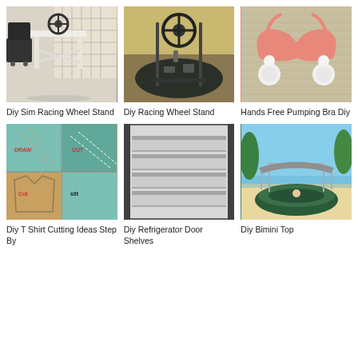[Figure (photo): DIY sim racing wheel stand made of white wood with black racing seat and steering wheel mounted on top]
Diy Sim Racing Wheel Stand
[Figure (photo): DIY racing wheel stand with Logitech steering wheel and pedals on dark carpet floor]
Diy Racing Wheel Stand
[Figure (photo): Hands free pumping bra in pink with white breast pump attachments on woven mat]
Hands Free Pumping Bra Diy
[Figure (photo): DIY T-shirt cutting ideas step by step collage showing draw, cut, and cut steps on teal fabric]
Diy T Shirt Cutting Ideas Step By
[Figure (photo): DIY refrigerator door shelves showing organized shelving with multiple levels]
Diy Refrigerator Door Shelves
[Figure (photo): DIY Bimini top mounted on a green inflatable boat on a sandy beach]
Diy Bimini Top